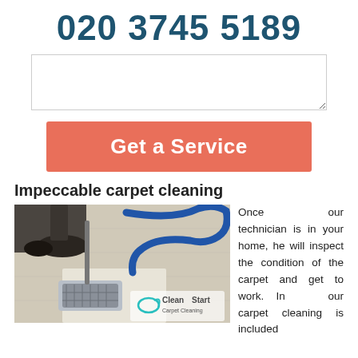020 3745 5189
[Figure (other): Text input area (textarea form field)]
Get a Service
Impeccable carpet cleaning
[Figure (photo): Photo of carpet cleaning machine in use on a light carpet, with a blue hose visible and a Clean Start Carpet Cleaning logo overlay]
Once our technician is in your home, he will inspect the condition of the carpet and get to work. In our carpet cleaning is included